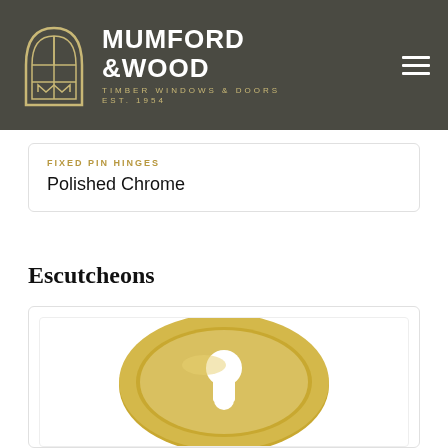[Figure (logo): Mumford & Wood logo with arched window icon in gold/olive outline on dark background, company name in white bold text, subtitle TIMBER WINDOWS & DOORS and EST. 1954 in gold]
FIXED PIN HINGES
Polished Chrome
Escutcheons
[Figure (photo): Gold/brass oval escutcheon keyhole cover plate with euro cylinder keyhole cutout shape, viewed from front]